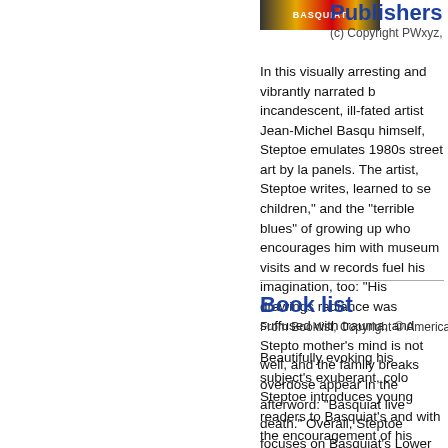[Figure (photo): Book cover thumbnail for Basquiat biography with colorful art design]
Publishers
(c) Copyright PWxyz,
In this visually arresting and vibrantly narrated b... incandescent, ill-fated artist Jean-Michel Basqu... himself, Steptoe emulates 1980s street art by la... panels. The artist, Steptoe writes, learned to se... children," and the "terrible blues" of growing up... who encourages him with museum visits and w... records fuel his imagination, too: "His drawings... radiance was suffused with trauma, and Stepto... mother's mind is not well, and the family breaks... overdose appear in the afterword: "Basquiat live... death." Overall, Steptoe focuses on Basquiat's... Lower East Side. Collaged photographs picture... now a famous artist!" Steptoe downplays tragic... Ages 4-8. (Oct.) © Copyright PWxyz, LLC. All ri...
Book list
From Booklist, Copyright © American Library Association, U...
Beautifully evoking his subject's exuberant, colo... Steptoe introduces young readers to Basquiat's... and with the encouragement of his similarly arti... finding creative inspiration not only at museums... signature style sloppy, ugly, and sometimes we... find joy in free-form scribbles, and that same sp... exploded perspectives in bright hues depict sce... golden cartoon crowns, eyeballs, and vehicles s...